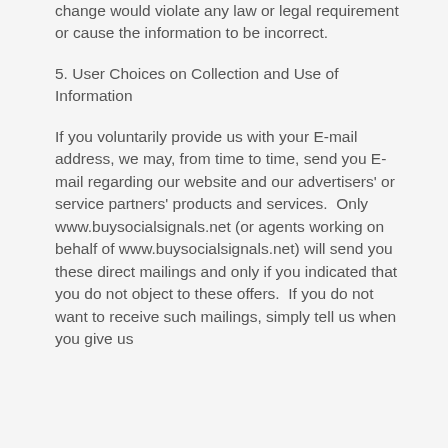change would violate any law or legal requirement or cause the information to be incorrect.
5. User Choices on Collection and Use of Information
If you voluntarily provide us with your E-mail address, we may, from time to time, send you E-mail regarding our website and our advertisers' or service partners' products and services.  Only www.buysocialsignals.net (or agents working on behalf of www.buysocialsignals.net) will send you these direct mailings and only if you indicated that you do not object to these offers.  If you do not want to receive such mailings, simply tell us when you give us